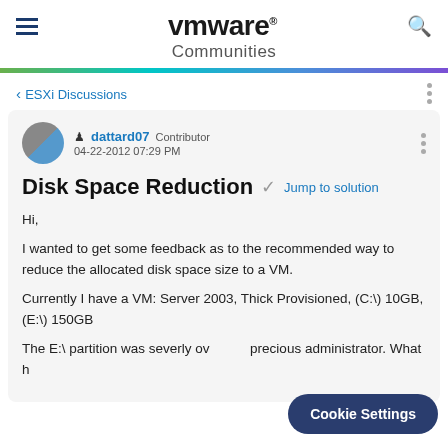vmware® Communities
‹ ESXi Discussions
dattard07 Contributor ‎04-22-2012 07:29 PM
Disk Space Reduction
Jump to solution
Hi,
I wanted to get some feedback as to the recommended way to reduce the allocated disk space size to a VM.
Currently I have a VM: Server 2003, Thick Provisioned, (C:\) 10GB, (E:\) 150GB
The E:\ partition was severly ov... precious administrator. What h...
Cookie Settings